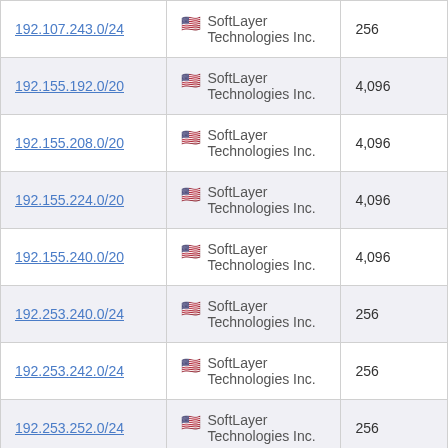| IP Range | Organization | Count |
| --- | --- | --- |
| 192.107.243.0/24 | SoftLayer Technologies Inc. | 256 |
| 192.155.192.0/20 | SoftLayer Technologies Inc. | 4,096 |
| 192.155.208.0/20 | SoftLayer Technologies Inc. | 4,096 |
| 192.155.224.0/20 | SoftLayer Technologies Inc. | 4,096 |
| 192.155.240.0/20 | SoftLayer Technologies Inc. | 4,096 |
| 192.253.240.0/24 | SoftLayer Technologies Inc. | 256 |
| 192.253.242.0/24 | SoftLayer Technologies Inc. | 256 |
| 192.253.252.0/24 | SoftLayer Technologies Inc. | 256 |
| 192.255.0.0/20 | SoftLayer Technologies Inc. | 4,096 |